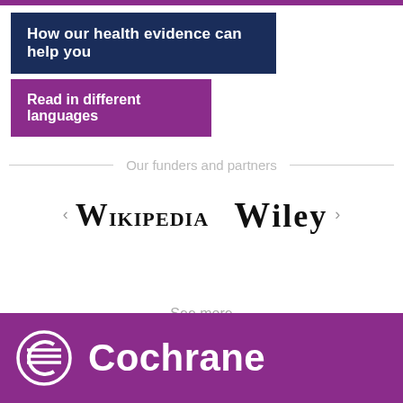How our health evidence can help you
Read in different languages
Our funders and partners
[Figure (logo): Wikipedia logo text in serif small-caps font]
[Figure (logo): Wiley logo text in serif bold font]
See more
[Figure (logo): Cochrane logo: circular icon with horizontal lines and Cochrane wordmark in white on purple background]